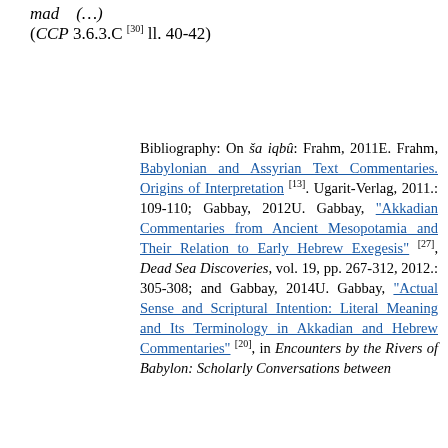mad (…) (CCP 3.6.3.C [30] ll. 40-42)
Bibliography: On ša iqbû: Frahm, 2011E. Frahm, Babylonian and Assyrian Text Commentaries. Origins of Interpretation [13]. Ugarit-Verlag, 2011.: 109-110; Gabbay, 2012U. Gabbay, "Akkadian Commentaries from Ancient Mesopotamia and Their Relation to Early Hebrew Exegesis" [27], Dead Sea Discoveries, vol. 19, pp. 267-312, 2012.: 305-308; and Gabbay, 2014U. Gabbay, "Actual Sense and Scriptural Intention: Literal Meaning and Its Terminology in Akkadian and Hebrew Commentaries" [20], in Encounters by the Rivers of Babylon: Scholarly Conversations between